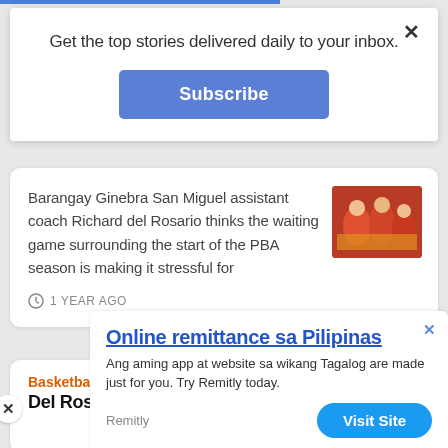Get the top stories delivered daily to your inbox.
Subscribe
Barangay Ginebra San Miguel assistant coach Richard del Rosario thinks the waiting game surrounding the start of the PBA season is making it stressful for
1 YEAR AGO
Basketball
Del Rosario: Ginebra to benefit
Online remittance sa Pilipinas
Ang aming app at website sa wikang Tagalog are made just for you. Try Remitly today.
Remitly
Visit Site